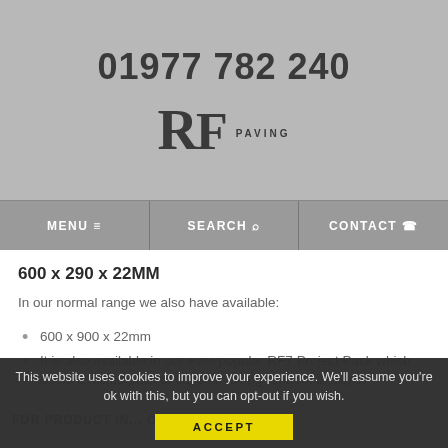01977 782 240
[Figure (logo): RF Paving logo with large bold RF letters and the word PAVING in small caps]
MENU  SEARCH  CONTACT
600 x 290 x 22MM
In our normal range we also have available:
600 x 900 x 22mm
It is also available in our ever-popular RF7 Project Pack which offers a mixed pack of flags for laying random designs.
This website uses cookies to improve your experience. We'll assume you're ok with this, but you can opt-out if you wish. ACCEPT
FOR PRODUCT IN... OR A QUOTE ON